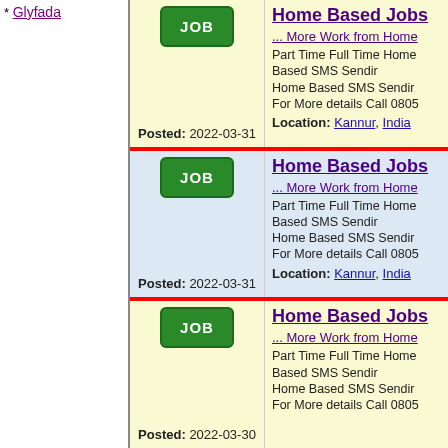* Glyfada
| JOB button | Posted: 2022-03-31 | Home Based Jobs... | ... More Work from Home | Part Time Full Time Home Based SMS Sending For More details Call 0805 | Location: Kannur, India |
| JOB button | Posted: 2022-03-31 | Home Based Jobs... | ... More Work from Home | Part Time Full Time Home Based SMS Sending For More details Call 0805 | Location: Kannur, India |
| JOB button | Posted: 2022-03-30 | Home Based Jobs... | ... More Work from Home | Part Time Full Time Home Based SMS Sending For More details Call 0805 |